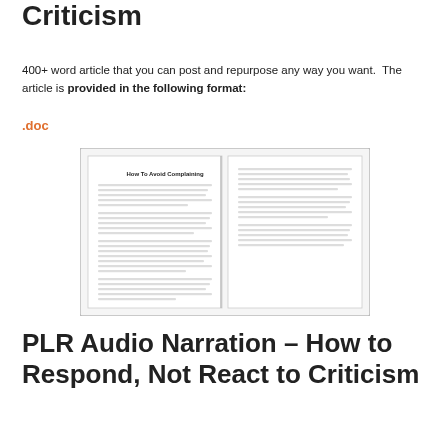Criticism
400+ word article that you can post and repurpose any way you want.  The article is provided in the following format:
.doc
[Figure (illustration): Open book/document preview showing two pages of the article 'How To Avoid Complaining' with small body text]
PLR Audio Narration – How to Respond, Not React to Criticism